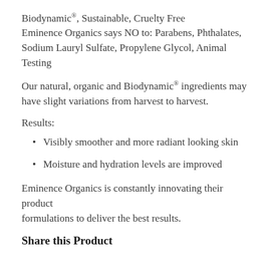Biodynamic®, Sustainable, Cruelty Free
Eminence Organics says NO to: Parabens, Phthalates, Sodium Lauryl Sulfate, Propylene Glycol, Animal Testing
Our natural, organic and Biodynamic® ingredients may have slight variations from harvest to harvest.
Results:
Visibly smoother and more radiant looking skin
Moisture and hydration levels are improved
Eminence Organics is constantly innovating their product formulations to deliver the best results.
Share this Product